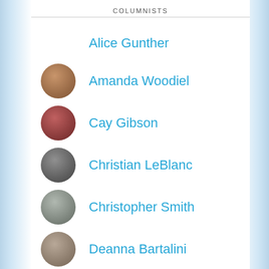COLUMNISTS
Alice Gunther
Amanda Woodiel
Cay Gibson
Christian LeBlanc
Christopher Smith
Deanna Bartalini
Dorian Speed